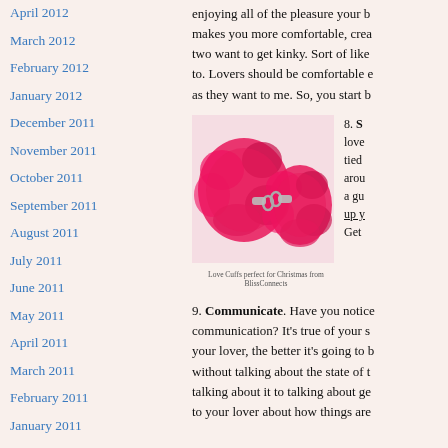April 2012
March 2012
February 2012
January 2012
December 2011
November 2011
October 2011
September 2011
August 2011
July 2011
June 2011
May 2011
April 2011
March 2011
February 2011
January 2011
December 2010
enjoying all of the pleasure your b... makes you more comfortable, crea... two want to get kinky. Sort of like to. Lovers should be comfortable e... as they want to me. So, you start b...
[Figure (photo): Pink fuzzy love cuffs/handcuffs for Christmas from BlissConnects]
Love Cuffs perfect for Christmas from BlissConnects
8. S... love... tied... arou... a gu... up y... Get...
9. Communicate. Have you notice... communication? It's true of your s... your lover, the better it's going to b... without talking about the state of t... talking about it to talking about ge... to your lover about how things are...